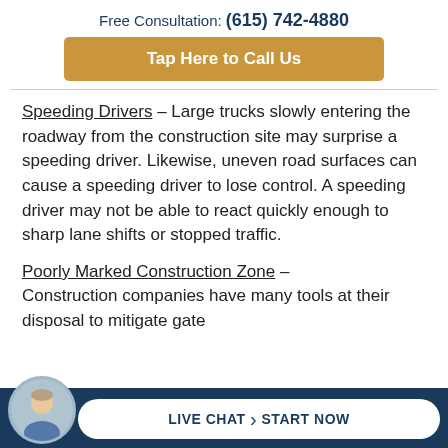Free Consultation: (615) 742-4880
Tap Here to Call Us
Speeding Drivers – Large trucks slowly entering the roadway from the construction site may surprise a speeding driver. Likewise, uneven road surfaces can cause a speeding driver to lose control. A speeding driver may not be able to react quickly enough to sharp lane shifts or stopped traffic.
Poorly Marked Construction Zone – Construction companies have many tools at their disposal to mitigate
LIVE CHAT  START NOW